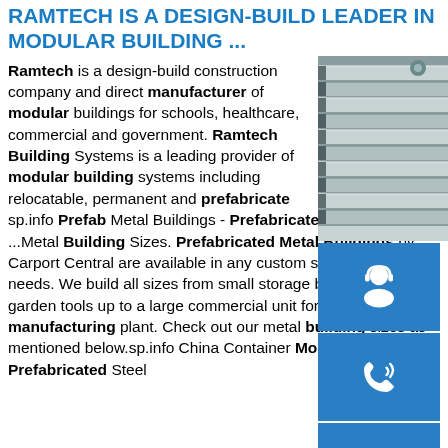RAMTECH IS A DESIGN-BUILD LEADER IN MODULAR BUILDING ...
[Figure (photo): Stack of metal C-channel steel structural members, silver/galvanized finish, viewed from the end showing multiple layers]
[Figure (illustration): Blue square icon with white headset/customer support person silhouette]
[Figure (illustration): Blue square icon with white phone/call icon]
[Figure (illustration): Blue square icon with white Skype logo]
Ramtech is a design-build construction company and direct manufacturer of modular buildings for schools, healthcare, commercial and government. Ramtech Building Systems is a leading provider of modular building systems including relocatable, permanent and prefabricate sp.info Prefab Metal Buildings - Prefabricated Me Building ...Metal Building Sizes. Prefabricated Metal Buildings by Carport Central are available in any custom size to fit your needs. We build all sizes from small storage buildings for your garden tools up to a large commercial unit for your manufacturing plant. Check out our metal building sizes as mentioned below.sp.info China Container Modular House Prefabricated Steel